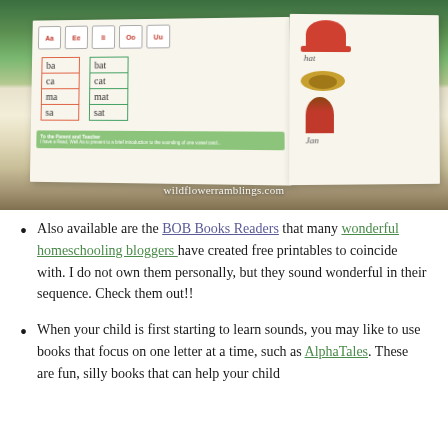[Figure (photo): A photo of an open educational book showing phonics content with letter combinations (ba, ca, ma, sa and bat, cat, mat, sat) and illustrated cards with vowel sounds Aa, Ee, Ii, Oo, Uu. The right page shows images of a hat, a sombrero, and a girl named Jan. Watermark reads wildflowerramblings.com]
Also available are the BOB Books Readers that many wonderful homeschooling bloggers have created free printables to coincide with.  I do not own them personally, but they sound wonderful in their sequence.  Check them out!!
When your child is first starting to learn sounds, you may like to use books that focus on one letter at a time, such as AlphaTales.  These are fun, silly books that can help your child